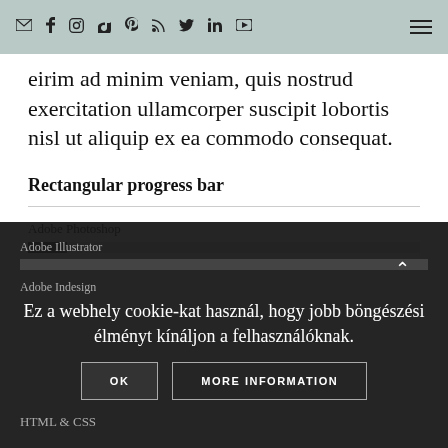email, facebook, instagram, tiktok, pinterest, rss, twitter, linkedin, youtube icons; hamburger menu
eirim ad minim veniam, quis nostrud exercitation ullamcorper suscipit lobortis nisl ut aliquip ex ea commodo consequat.
Rectangular progress bar
Adobe Photoshop
Adobe Illustrator
Adobe Indesign
HTML & CSS
Ez a webhely cookie-kat használ, hogy jobb böngészési élményt kínáljon a felhasználóknak.